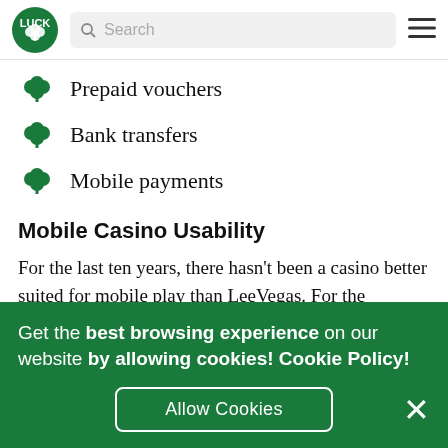Luck | Search
Prepaid vouchers
Bank transfers
Mobile payments
Mobile Casino Usability
For the last ten years, there hasn't been a casino better suited for mobile play than LeeVegas. For the
Get the best browsing experience on our website by allowing cookies! Cookie Policy!
Allow Cookies